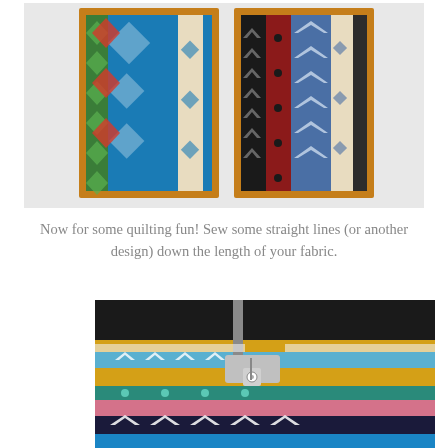[Figure (photo): Two framed fabric panels with colorful Aztec/southwestern stripe patterns mounted on a white wall. Left panel has red, green, blue geometric patterns; right panel has black, dark red, blue chevron and stripe patterns. Both have orange/wood frames.]
Now for some quilting fun! Sew some straight lines (or another design) down the length of your fabric.
[Figure (photo): Close-up of a sewing machine needle stitching through layered colorful striped fabric including blue, teal, red, dark navy with white arrow/chevron patterns and a yellow/gold border strip.]